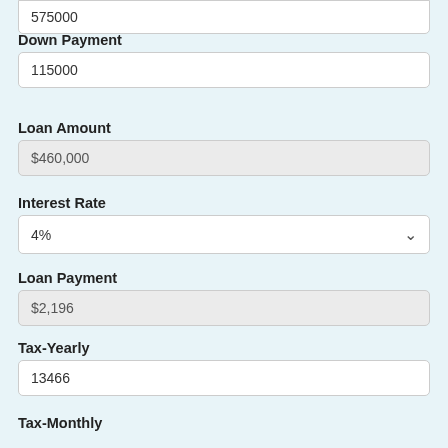575000
Down Payment
115000
Loan Amount
$460,000
Interest Rate
4%
Loan Payment
$2,196
Tax-Yearly
13466
Tax-Monthly
$1,122
HOA Fee
1857
Other